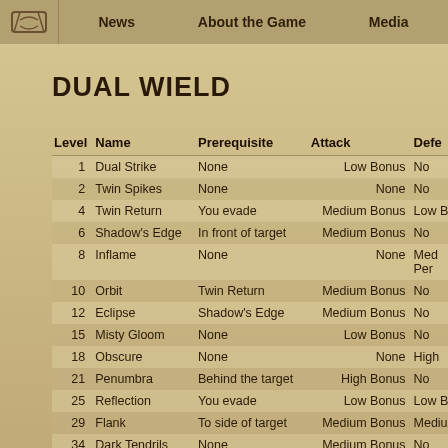News | About the Game | Media
DUAL WIELD
| Level | Name | Prerequisite | Attack | Defe... |
| --- | --- | --- | --- | --- |
| 1 | Dual Strike | None | Low Bonus | No... |
| 2 | Twin Spikes | None | None | No... |
| 4 | Twin Return | You evade | Medium Bonus | Low B... |
| 6 | Shadow's Edge | In front of target | Medium Bonus | No... |
| 8 | Inflame | None | None | Med... Per... |
| 10 | Orbit | Twin Return | Medium Bonus | No... |
| 12 | Eclipse | Shadow's Edge | Medium Bonus | No... |
| 15 | Misty Gloom | None | Low Bonus | No... |
| 18 | Obscure | None | None | High... |
| 21 | Penumbra | Behind the target | High Bonus | No... |
| 25 | Reflection | You evade | Low Bonus | Low B... |
| 29 | Flank | To side of target | Medium Bonus | Medium... |
| 34 | Dark Tendrils | None | Medium Bonus | No... |
| 39 | Shadow's Rain | Flank | Medium Bonus | Low B... |
| ... | Hypnotic |  |  |  |